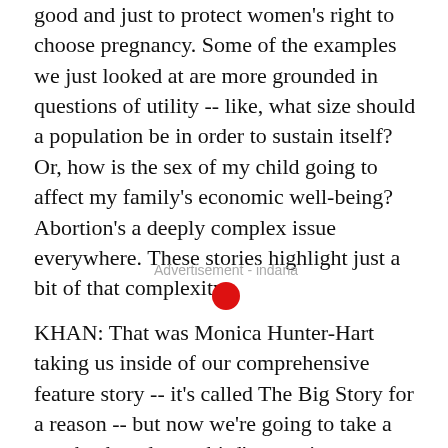good and just to protect women's right to choose pregnancy. Some of the examples we just looked at are more grounded in questions of utility -- like, what size should a population be in order to sustain itself? Or, how is the sex of my child going to affect my family's economic well-being? Abortion's a deeply complex issue everywhere. These stories highlight just a bit of that complexity.
Advertisement - indana
KHAN: That was Monica Hunter-Hart taking us inside of our comprehensive feature story -- it's called The Big Story for a reason -- but now we're going to take a step back and get a bird's-eye view as Nikkei Asia correspondent Jack Stone Truitt speaks with our Big Story editor, Alice French, about abortion throughout the rest of the continent.